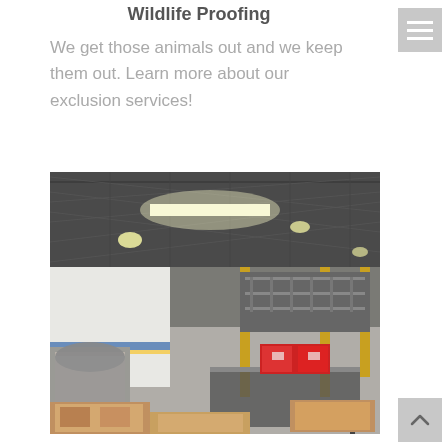Wildlife Proofing
We get those animals out and we keep them out. Learn more about our exclusion services!
[Figure (photo): Interior of a large warehouse with metal roof trusses, fluorescent lighting, yellow support columns, stacked boxes on pallets, a red container on a table, and shelving visible in the background.]